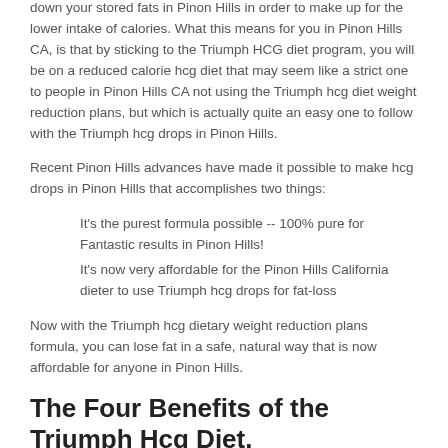down your stored fats in Pinon Hills in order to make up for the lower intake of calories. What this means for you in Pinon Hills CA, is that by sticking to the Triumph HCG diet program, you will be on a reduced calorie hcg diet that may seem like a strict one to people in Pinon Hills CA not using the Triumph hcg diet weight reduction plans, but which is actually quite an easy one to follow with the Triumph hcg drops in Pinon Hills.
Recent Pinon Hills advances have made it possible to make hcg drops in Pinon Hills that accomplishes two things:
It's the purest formula possible -- 100% pure for Fantastic results in Pinon Hills!
It's now very affordable for the Pinon Hills California dieter to use Triumph hcg drops for fat-loss
Now with the Triumph hcg dietary weight reduction plans formula, you can lose fat in a safe, natural way that is now affordable for anyone in Pinon Hills.
The Four Benefits of the Triumph Hcg Diet.
Triumph HCG drops combine a revolutionary diet weight